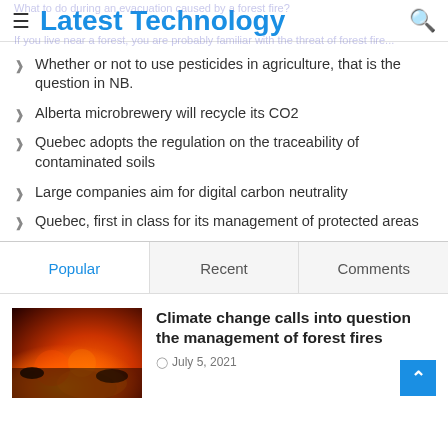Latest Technology
Whether or not to use pesticides in agriculture, that is the question in NB.
Alberta microbrewery will recycle its CO2
Quebec adopts the regulation on the traceability of contaminated soils
Large companies aim for digital carbon neutrality
Quebec, first in class for its management of protected areas
Popular | Recent | Comments
[Figure (photo): Forest fire at night with orange and red glowing flames and smoke]
Climate change calls into question the management of forest fires
July 5, 2021